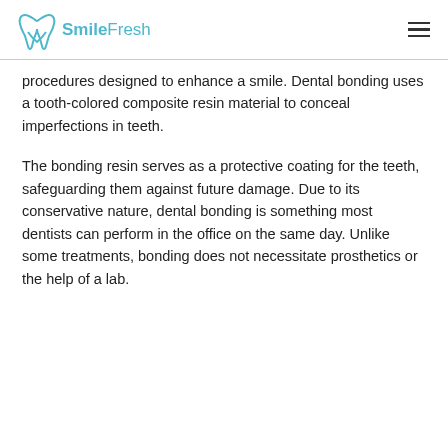SmileFresh
procedures designed to enhance a smile. Dental bonding uses a tooth-colored composite resin material to conceal imperfections in teeth.
The bonding resin serves as a protective coating for the teeth, safeguarding them against future damage. Due to its conservative nature, dental bonding is something most dentists can perform in the office on the same day. Unlike some treatments, bonding does not necessitate prosthetics or the help of a lab.